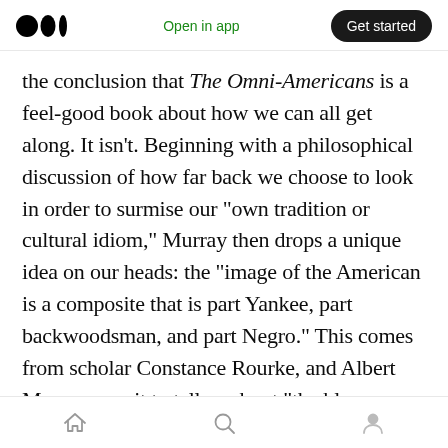Medium logo | Open in app | Get started
the conclusion that The Omni-Americans is a feel-good book about how we can all get along. It isn't. Beginning with a philosophical discussion of how far back we choose to look in order to surmise our “own tradition or cultural idiom,” Murray then drops a unique idea on our heads: the “image of the American is a composite that is part Yankee, part backwoodsman, and part Negro.” This comes from scholar Constance Rourke, and Albert Murray uses it to tell us about “the blues tradition, a tradition of confrontation and improvisation.” It’s all about
Home | Search | Profile